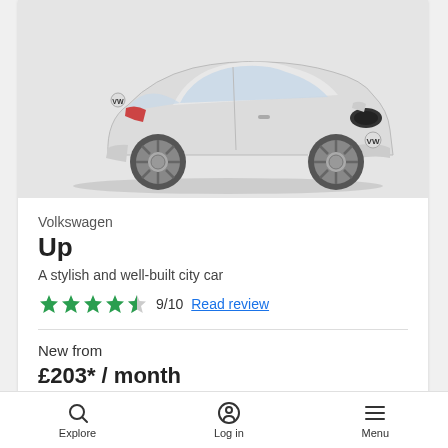[Figure (photo): White Volkswagen Up city car viewed from front three-quarter angle, on a light grey background. The car has a 'carwow' badge visible on the front.]
Volkswagen
Up
A stylish and well-built city car
★★★★½  9/10  Read review
New from
£203* / month
Explore   Log in   Menu